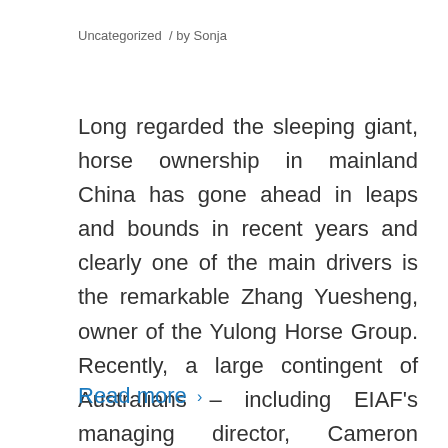Uncategorized  /  by Sonja
Long regarded the sleeping giant, horse ownership in mainland China has gone ahead in leaps and bounds in recent years and clearly one of the main drivers is the remarkable Zhang Yuesheng, owner of the Yulong Horse Group. Recently, a large contingent of Australians – including EIAF's managing director, Cameron Croucher – travelled to Shanxi […]
Read more ›